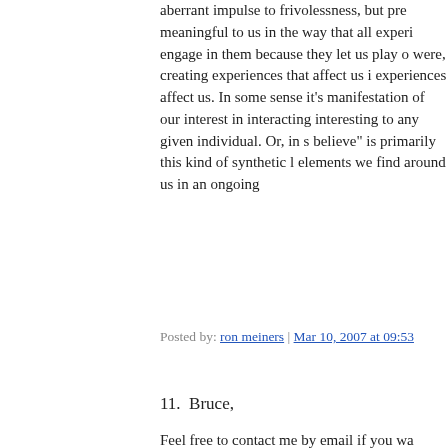aberrant impulse to frivolessness, but pre meaningful to us in the way that all experi engage in them because they let us play o were, creating experiences that affect us i experiences affect us. In some sense it's manifestation of our interest in interacting interesting to any given individual. Or, in s believe" is primarily this kind of synthetic l elements we find around us in an ongoing
Posted by: ron meiners | Mar 10, 2007 at 09:53
11.  Bruce,
Feel free to contact me by email if you wa material. :-)
Your fellow pack-rat,
Randy
Posted by: F. Randall Farmer | Mar 10, 2007 at 2
12.  Raph says:
"Well,it's well known that I see litle differe worlds."
http://www.raphkoster.com/2006/03/31/ar
They both simulate places, the question is display a mud world graphically and on M